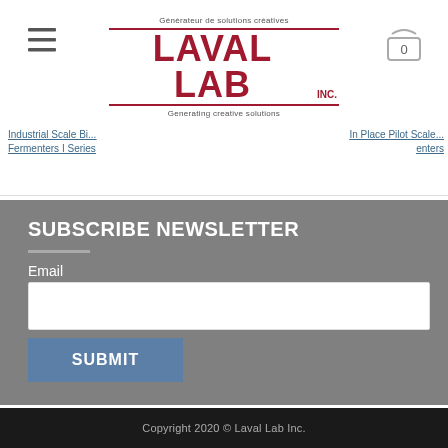[Figure (logo): Laval Lab Inc. logo with taglines 'Générateur de solutions créatives' and 'Generating creative solutions', red text with red border lines]
Industrial Scale Bi... Fermenters I Series
In Place Pilot Scale ... enters
SUBSCRIBE NEWSLETTER
Email
Copyright 2020 © Laval Lab Inc.